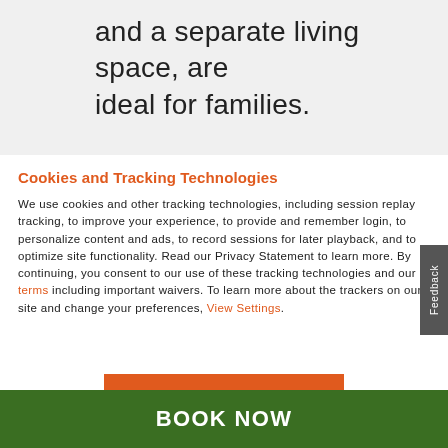and a separate living space, are ideal for families.
Cookies and Tracking Technologies
We use cookies and other tracking technologies, including session replay tracking, to improve your experience, to provide and remember login, to personalize content and ads, to record sessions for later playback, and to optimize site functionality. Read our Privacy Statement to learn more. By continuing, you consent to our use of these tracking technologies and our terms including important waivers. To learn more about the trackers on our site and change your preferences, View Settings.
ACCEPT
BOOK NOW